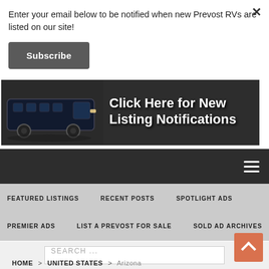Enter your email below to be notified when new Prevost RVs are listed on our site!
Subscribe
[Figure (illustration): Dark banner advertisement with a black bus on the left and white bold text reading 'Click Here for New Listing Notifications' on a dark background.]
≡ (hamburger menu icon)
FEATURED LISTINGS
RECENT POSTS
SPOTLIGHT ADS
PREMIER ADS
LIST A PREVOST FOR SALE
SOLD AD ARCHIVES
SEARCH ...
HOME > UNITED STATES > Arizona